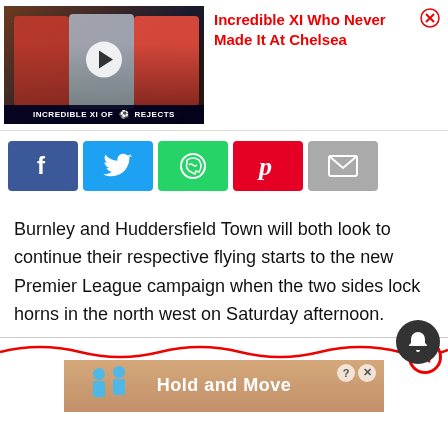[Figure (screenshot): Video thumbnail ad showing 'Incredible XI Of Chelsea Rejects' with footballer images and play button]
Incredible XI Who Never Made It At Chelsea
[Figure (infographic): Social sharing buttons: Facebook, Twitter, WhatsApp, Pinterest, Email]
Burnley and Huddersfield Town will both look to continue their respective flying starts to the new Premier League campaign when the two sides lock horns in the north west on Saturday afternoon.
[Figure (screenshot): Bottom advertisement: 'Hold and Move' app/game ad with character icons]